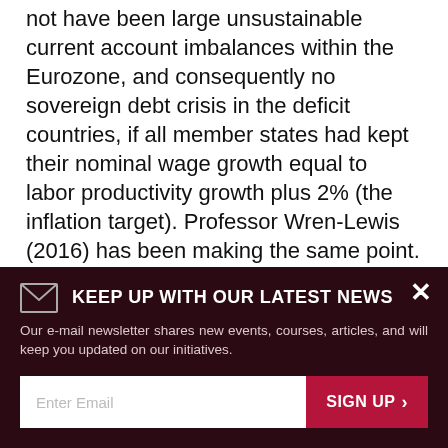not have been large unsustainable current account imbalances within the Eurozone, and consequently no sovereign debt crisis in the deficit countries, if all member states had kept their nominal wage growth equal to labor productivity growth plus 2% (the inflation target). Professor Wren-Lewis (2016) has been making the same point.
In this account, this delicate equilibrium has been deliberately upset by nominal wage moderation in mercantilist Germany, with a growing German trade
[Figure (infographic): Newsletter signup overlay on dark maroon background. Includes envelope icon, headline 'KEEP UP WITH OUR LATEST NEWS', body text about e-mail newsletter, email input field, and SIGN UP button. Close (X) button in top right.]